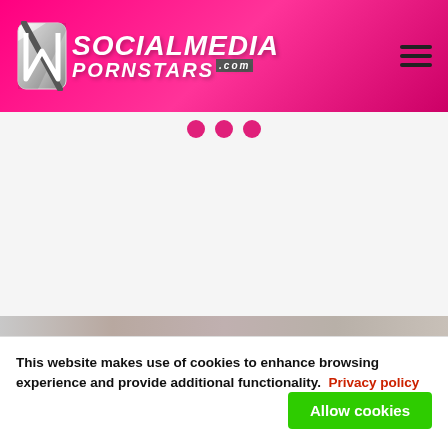SocialMediaPornstars.com
[Figure (screenshot): Website screenshot showing pink/magenta gradient header with SocialMediaPornstars.com logo and hamburger menu icon, three pink dots below header as carousel indicators, large blank white/light gray content area, and partial image strip at bottom]
This website makes use of cookies to enhance browsing experience and provide additional functionality.  Privacy policy
Allow cookies